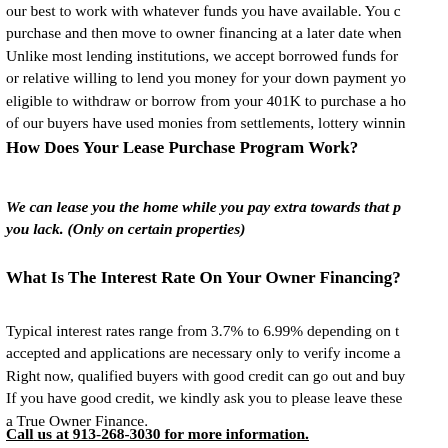our best to work with whatever funds you have available. You can start with a cash purchase and then move to owner financing at a later date when you have equity. Unlike most lending institutions, we accept borrowed funds for down payments. If a friend or relative willing to lend you money for your down payment you can use it. You may be eligible to withdraw or borrow from your 401K to purchase a home. In fact, many of our buyers have used monies from settlements, lottery winni...
How Does Your Lease Purchase Program Work?
We can lease you the home while you pay extra towards that p... you lack. (Only on certain properties)
What Is The Interest Rate On Your Owner Financing?
Typical interest rates range from 3.7% to 6.99% depending on the... accepted and applications are necessary only to verify income a... Right now, qualified buyers with good credit can go out and buy... If you have good credit, we kindly ask you to please leave these... a True Owner Finance.
Call us at 913-268-3030 for more information.